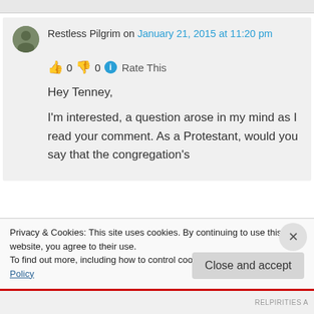Restless Pilgrim on January 21, 2015 at 11:20 pm
👍 0 👎 0 ℹ Rate This
Hey Tenney,
I'm interested, a question arose in my mind as I read your comment. As a Protestant, would you say that the congregation's
Privacy & Cookies: This site uses cookies. By continuing to use this website, you agree to their use.
To find out more, including how to control cookies, see here: Cookie Policy
Close and accept